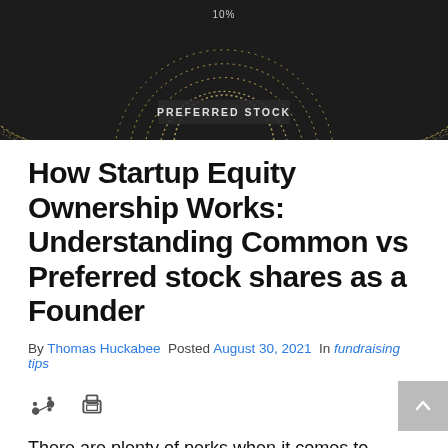[Figure (illustration): Dark background hero image with concentric arc shapes in gold/white dotted patterns and text 'PREFERRED STOCK' in the center]
How Startup Equity Ownership Works: Understanding Common vs Preferred stock shares as a Founder
By Thomas Huckabee  Posted August 30, 2021  In fundraising tips
There are plenty of perks when it comes to founding or working at a start-up, being your own boss, creating